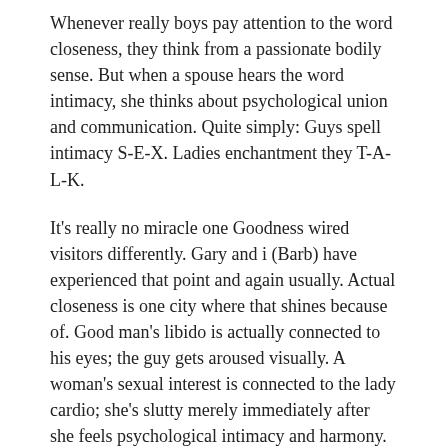Whenever really boys pay attention to the word closeness, they think from a passionate bodily sense. But when a spouse hears the word intimacy, she thinks about psychological union and communication. Quite simply: Guys spell intimacy S-E-X. Ladies enchantment they T-A-L-K.
It's really no miracle one Goodness wired visitors differently. Gary and i (Barb) have experienced that point and again usually. Actual closeness is one city where that shines because of. Good man's libido is actually connected to his eyes; the guy gets aroused visually. A woman's sexual interest is connected to the lady cardio; she's slutty merely immediately after she feels psychological intimacy and harmony.
Another distinction is the fact a man is also compartmentalize sex off what you otherwise in his